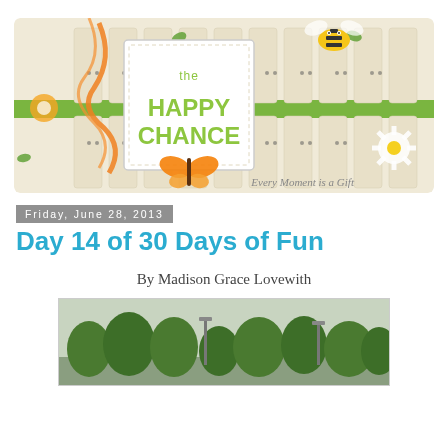[Figure (illustration): Blog header banner for 'The Happy Chance' blog. Features a white picket fence background with green stripe, decorative flowers, orange ribbons and butterfly, a cartoon bumblebee, and a white square label reading 'the HAPPY CHANCE' in green text. Bottom right reads 'Every Moment is a Gift' in script.]
Friday, June 28, 2013
Day 14 of 30 Days of Fun
By Madison Grace Lovewith
[Figure (photo): Outdoor photo showing green trees and what appears to be a parking lot or road area with lamp posts, taken on an overcast day.]